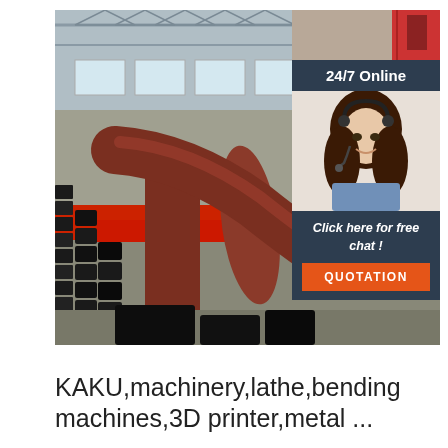[Figure (photo): Industrial factory floor showing a large red/brown metal pipe being cut or processed on a CNC plasma cutting machine with multiple black guide channels along the sides. Background shows large factory warehouse with metal roof structure and windows. Top-right corner overlaid with a customer service agent photo (woman with headset smiling) and a dark navy panel with text '24/7 Online', 'Click here for free chat!', and an orange QUOTATION button.]
KAKU,machinery,lathe,bending machines,3D printer,metal ...